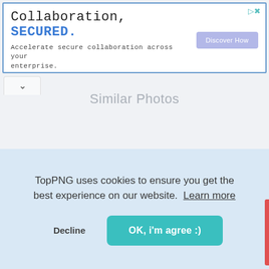[Figure (screenshot): Advertisement banner with blue border. Text reads 'Collaboration, SECURED.' with blue bold 'SECURED.' and subtext 'Accelerate secure collaboration across your enterprise.' with a 'Discover How' button and ad control icons.]
Similar Photos
TopPNG uses cookies to ensure you get the best experience on our website.  Learn more
Decline
OK, i'm agree :)